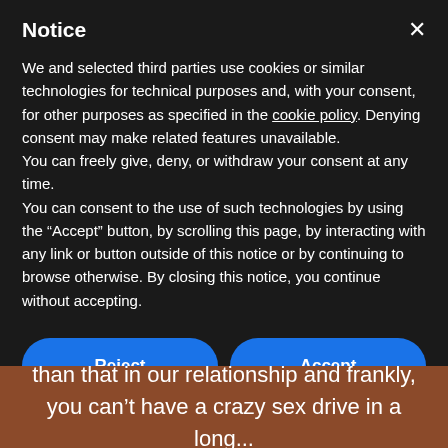Notice
We and selected third parties use cookies or similar technologies for technical purposes and, with your consent, for other purposes as specified in the cookie policy. Denying consent may make related features unavailable.
You can freely give, deny, or withdraw your consent at any time.
You can consent to the use of such technologies by using the “Accept” button, by scrolling this page, by interacting with any link or button outside of this notice or by continuing to browse otherwise. By closing this notice, you continue without accepting.
Reject
Accept
Learn more and customize
than that in our relationship and frankly,
you can’t have a crazy sex drive in a long...